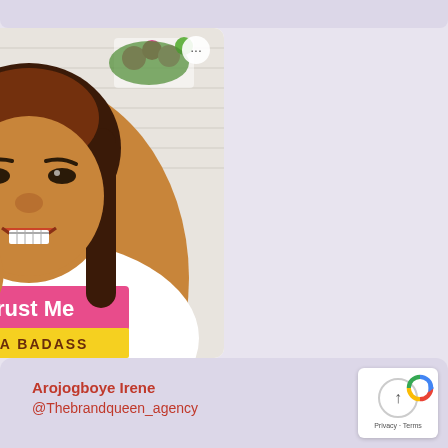[Figure (photo): Screenshot of a social media post showing a young woman with long brown hair wearing a white t-shirt with text 'Trust Me I'M A BADASS'. She is smiling and making a hand gesture. The background shows a white brick wall with plants and flowers. There is a circular button in the top right of the image.]
Arojogboye Irene
@Thebrandqueen_agency